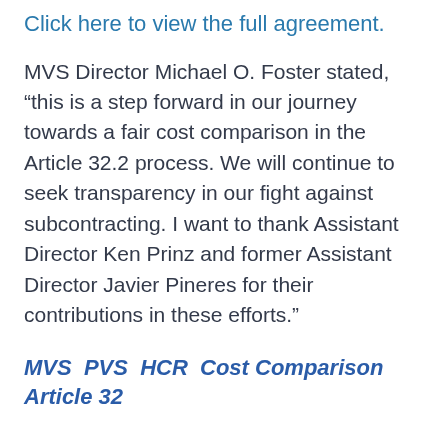Click here to view the full agreement.
MVS Director Michael O. Foster stated, “this is a step forward in our journey towards a fair cost comparison in the Article 32.2 process. We will continue to seek transparency in our fight against subcontracting. I want to thank Assistant Director Ken Prinz and former Assistant Director Javier Pineres for their contributions in these efforts.”
MVS  PVS  HCR  Cost Comparison Article 32